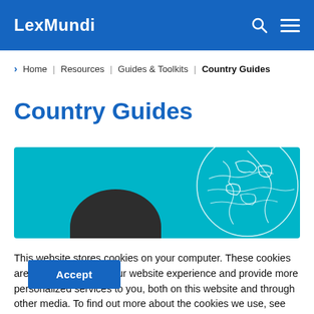LexMundi
Home | Resources | Guides & Toolkits | Country Guides
Country Guides
[Figure (illustration): Teal/cyan banner with a white outline globe illustration on the right and a dark circular element at the bottom center]
This website stores cookies on your computer. These cookies are used to improve your website experience and provide more personalized services to you, both on this website and through other media. To find out more about the cookies we use, see our Cookie policy
Accept